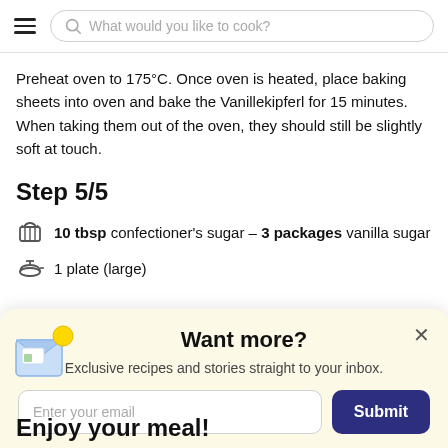What would you like to cook?
Preheat oven to 175°C. Once oven is heated, place baking sheets into oven and bake the Vanillekipferl for 15 minutes. When taking them out of the oven, they should still be slightly soft at touch.
Step 5/5
10 tbsp confectioner's sugar – 3 packages vanilla sugar
1 plate (large)
[Figure (infographic): Newsletter signup popup with envelope illustration, 'Want more?' heading, subtitle 'Exclusive recipes and stories straight to your inbox.', email input field, and Submit button]
Enjoy your meal!